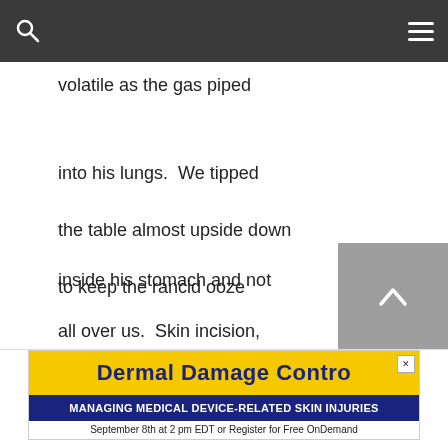volatile as the gas piped
into his lungs.  We tipped
the table almost upside down
to keep the rancid ooze
inside his stomach and not
all over us.  Skin incision,
then f
[Figure (infographic): Advertisement banner for Dermal Damage Control with yellow background showing title and subtitle 'Managing medical device-related skin injuries' and text 'September 8th at 2 pm EDT or Register for Free OnDemand']